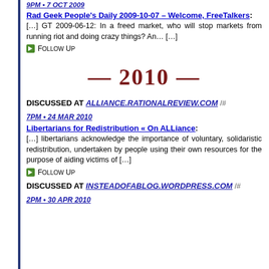9PM • 7 OCT 2009
Rad Geek People's Daily 2009-10-07 – Welcome, FreeTalkers: […] GT 2009-06-12: In a freed market, who will stop markets from running riot and doing crazy things? An… […]
Follow Up
— 2010 —
DISCUSSED AT ALLIANCE.RATIONALREVIEW.COM /#
7PM • 24 MAR 2010
Libertarians for Redistribution « On ALLiance: […] libertarians acknowledge the importance of voluntary, solidaristic redistribution, undertaken by people using their own resources for the purpose of aiding victims of […]
Follow Up
DISCUSSED AT INSTEADOFABLOG.WORDPRESS.COM /#
2PM • 30 APR 2010